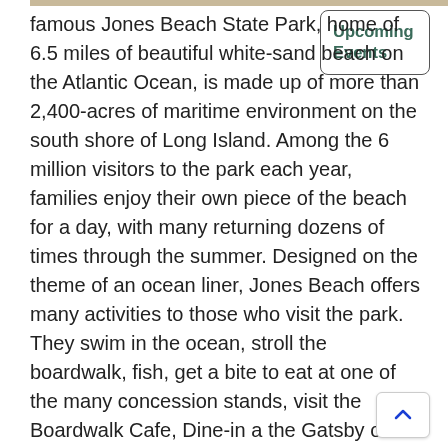famous Jones Beach State Park, home of 6.5 miles of beautiful white-sand beach on the Atlantic Ocean, is made up of more than 2,400-acres of maritime environment on the south shore of Long Island. Among the 6 million visitors to the park each year, families enjoy their own piece of the beach for a day, with many returning dozens of times through the summer. Designed on the theme of an ocean liner, Jones Beach offers many activities to those who visit the park. They swim in the ocean, stroll the boardwalk, fish, get a bite to eat at one of the many concession stands, visit the Boardwalk Cafe, Dine-in a the Gatsby on the Ocean Restaurant, Enjoy the WildPlay Adventure Park
Upcoming Events